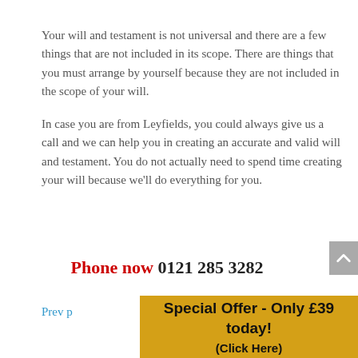Your will and testament is not universal and there are a few things that are not included in its scope. There are things that you must arrange by yourself because they are not included in the scope of your will.

In case you are from Leyfields, you could always give us a call and we can help you in creating an accurate and valid will and testament. You do not actually need to spend time creating your will because we'll do everything for you.
Phone now 0121 285 3282
Prev p
Special Offer - Only £39 today! (Click Here)